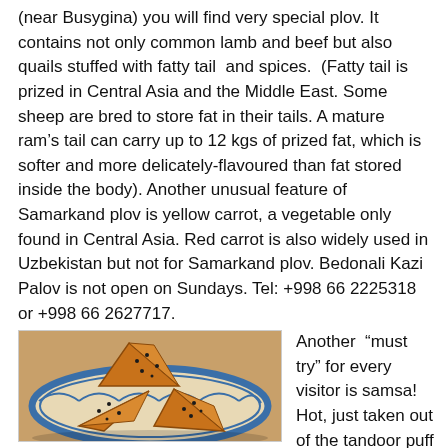(near Busygina) you will find very special plov. It contains not only common lamb and beef but also quails stuffed with fatty tail  and spices.  (Fatty tail is prized in Central Asia and the Middle East. Some sheep are bred to store fat in their tails. A mature ram's tail can carry up to 12 kgs of prized fat, which is softer and more delicately-flavoured than fat stored inside the body). Another unusual feature of Samarkand plov is yellow carrot, a vegetable only found in Central Asia. Red carrot is also widely used in Uzbekistan but not for Samarkand plov. Bedonali Kazi Palov is not open on Sundays. Tel: +998 66 2225318 or +998 66 2627717.
[Figure (photo): Photo of samsa (triangular puff pastry buns) on a decorative blue and white Uzbek plate]
Another “must try” for every visitor is samsa! Hot, just taken out of the tandoor puff pastry, filled with a mixture of lamb, beef and juicy onions